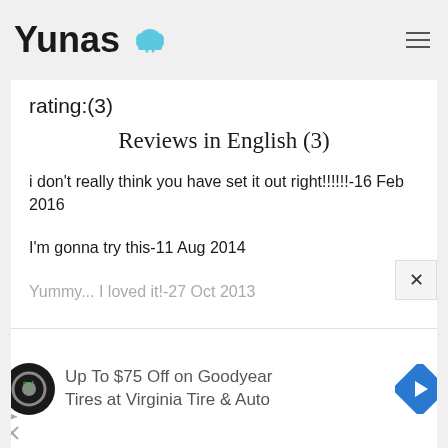Yunas [chef hat icon]
rating:(3)
Reviews in English (3)
i don't really think you have set it out right!!!!!!-16 Feb 2016
I'm gonna try this-11 Aug 2014
Yummy... I loved it!-27 Oct 2013
[Figure (screenshot): Advertisement banner: Up To $75 Off on Goodyear Tires at Virginia Tire & Auto, with Tire & Auto logo and navigation arrow icon]